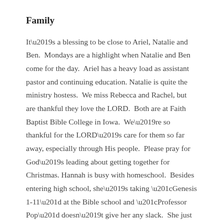Family
It's a blessing to be close to Ariel, Natalie and Ben.  Mondays are a highlight when Natalie and Ben come for the day.  Ariel has a heavy load as assistant pastor and continuing education.  Natalie is quite the ministry hostess.  We miss Rebecca and Rachel, but are thankful they love the LORD.  Both are at Faith Baptist Bible College in Iowa.  We're so thankful for the LORD's care for them so far away, especially through His people.  Please pray for God's leading about getting together for Christmas.  Hannah is busy with homeschool.  Besides entering high school, she's taking “Genesis 1-11” at the Bible school and “Professor Pop” doesn’t give her any slack.  She just wrote her first term